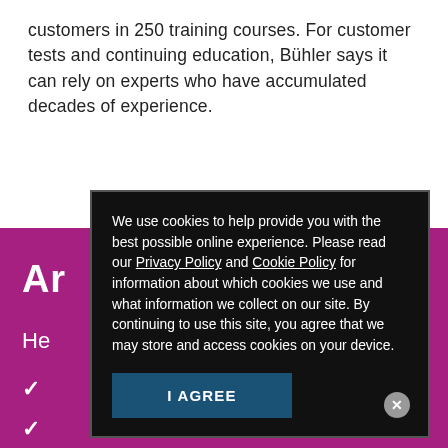customers in 250 training courses. For customer tests and continuing education, Bühler says it can rely on experts who have accumulated decades of experience.
[Figure (screenshot): Cookie consent popup overlay on a purple/magenta background section. The popup reads: 'We use cookies to help provide you with the best possible online experience. Please read our Privacy Policy and Cookie Policy for information about which cookies we use and what information we collect on our site. By continuing to use this site, you agree that we may store and access cookies on your device.' with an 'I AGREE' button. Behind the popup is a magenta/purple section showing partial text 'Ar', 'He', and three white checkmarks.]